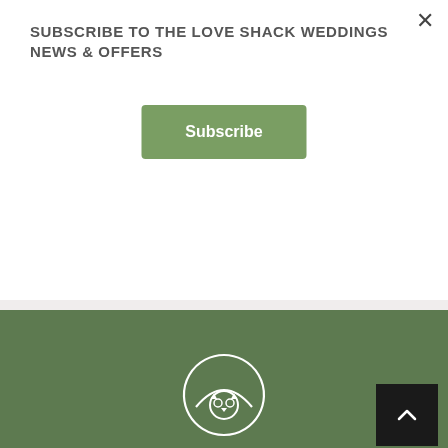SUBSCRIBE TO THE LOVE SHACK WEDDINGS NEWS & OFFERS
Subscribe
[Figure (logo): Love Shack Weddings circular logo with owl icon in white outline on green background]
[Figure (other): Back to top button with upward chevron arrow on black background]